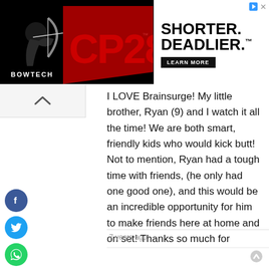[Figure (screenshot): Bowtech CP28 advertisement banner. Black background with red CP28 logo text, Bowtech branding on left, and 'SHORTER. DEADLIER.' text with 'LEARN MORE' button on right.]
I LOVE Brainsurge! My little brother, Ryan (9) and I watch it all the time! We are both smart, friendly kids who would kick butt! Not to mention, Ryan had a tough time with friends, (he only had one good one), and this would be an incredible opportunity for him to make friends here at home and on set! Thanks so much for reading, and may God bless you!
7 years ago